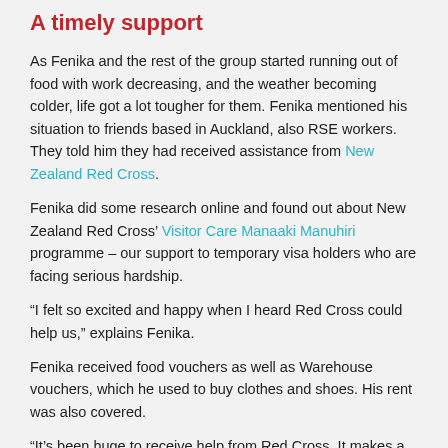A timely support
As Fenika and the rest of the group started running out of food with work decreasing, and the weather becoming colder, life got a lot tougher for them. Fenika mentioned his situation to friends based in Auckland, also RSE workers. They told him they had received assistance from New Zealand Red Cross.
Fenika did some research online and found out about New Zealand Red Cross’ Visitor Care Manaaki Manuhiri programme – our support to temporary visa holders who are facing serious hardship.
“I felt so excited and happy when I heard Red Cross could help us,” explains Fenika.
Fenika received food vouchers as well as Warehouse vouchers, which he used to buy clothes and shoes. His rent was also covered.
“It’s been huge to receive help from Red Cross. It makes a big difference day to day,” says Fenika.